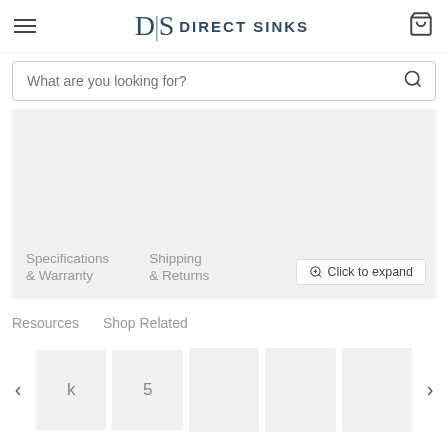D|S DIRECT SINKS
What are you looking for?
[Figure (screenshot): Product image placeholder area (gray), with tabs: Specifications & Warranty, Shipping & Returns, and a 'Click to expand' button overlay]
Resources   Shop Related
[Figure (screenshot): Carousel of product thumbnail placeholders with left and right navigation arrows]